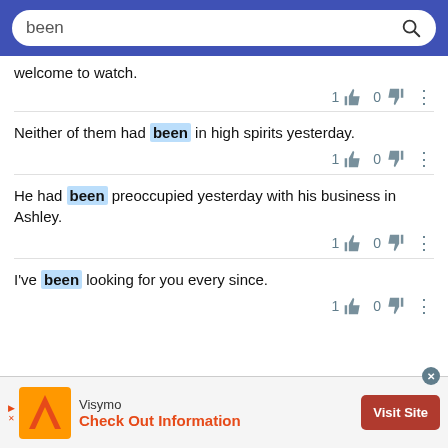been [search bar]
welcome to watch.
Neither of them had been in high spirits yesterday.
He had been preoccupied yesterday with his business in Ashley.
I've been looking for you every since.
[Figure (screenshot): Visymo advertisement banner with orange logo, 'Check Out Information' tagline and 'Visit Site' button]